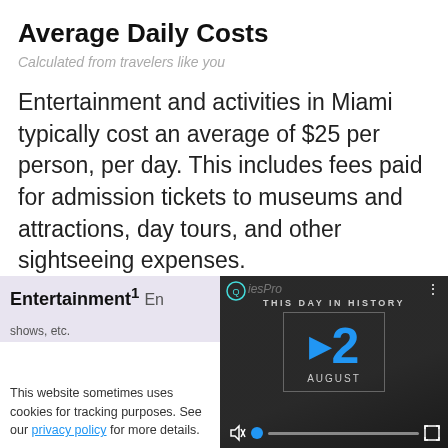Average Daily Costs
Calculated from travelers like you
Entertainment and activities in Miami typically cost an average of $25 per person, per day. This includes fees paid for admission tickets to museums and attractions, day tours, and other sightseeing expenses.
Entertainment¹ En...
This website sometimes uses cookies for tracking purposes. See our privacy policy for more details.
[Figure (screenshot): Video player showing 'This Day In History' with the date August 12, progress bar, mute icon, and fullscreen button.]